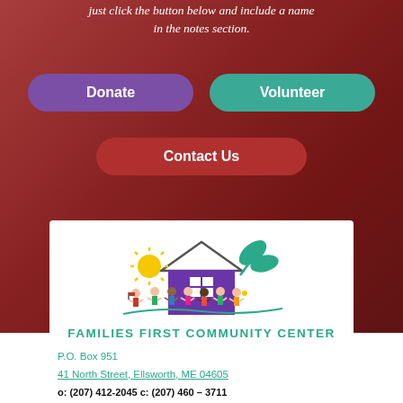just click the button below and include a name in the notes section.
[Figure (illustration): Purple donate button (rounded rectangle)]
[Figure (illustration): Teal volunteer button (rounded rectangle)]
[Figure (illustration): Red contact us button (rounded rectangle)]
[Figure (logo): Families First Community Center logo with cartoon children holding hands in front of a purple house, yellow sun, teal leaves]
FAMILIES FIRST COMMUNITY CENTER
P.O. Box 951
41 North Street, Ellsworth, ME 04605
o: (207) 412-2045 c: (207) 460 – 3711